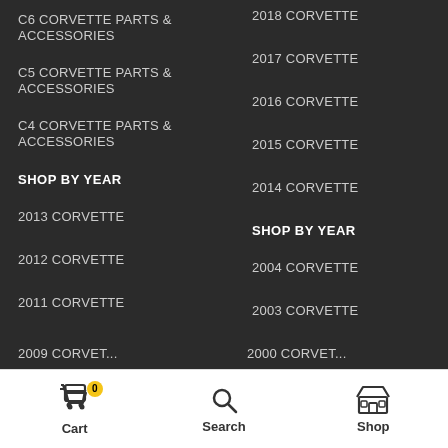C6 CORVETTE PARTS & ACCESSORIES
2018 CORVETTE
C5 CORVETTE PARTS & ACCESSORIES
2017 CORVETTE
C4 CORVETTE PARTS & ACCESSORIES
2016 CORVETTE
2015 CORVETTE
2014 CORVETTE
SHOP BY YEAR
SHOP BY YEAR
2013 CORVETTE
2004 CORVETTE
2012 CORVETTE
2003 CORVETTE
2011 CORVETTE
2002 CORVETTE
2010 CORVETTE
2001 CORVETTE
Cart  Search  Shop